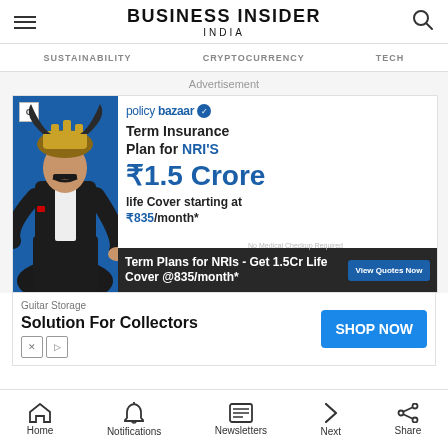BUSINESS INSIDER INDIA
SUSTAINABILITY   CRYPTOCURRENCY   TECH
[Figure (screenshot): PolicyBazaar advertisement: Term Insurance Plan for NRI'S, ₹1.5 Crore life Cover starting at ₹835/month*. Term Plans for NRIs - Get 1.5Cr Life Cover @835/month*. View Quotes Now button.]
[Figure (screenshot): Guitar Storage Solution For Collectors advertisement with SHOP NOW button]
Home   Notifications   Newsletters   Next   Share